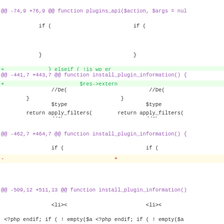[Figure (screenshot): Git diff screenshot showing code changes in PHP WordPress plugin files with three hunks: @@ -441,7 +443,7 @@, @@ -462,7 +464,7 @@, and @@ -509,12 +511,13 @@ for function install_plugin_information()]
@@ -441,7 +443,7 @@ function install_plugin_information() { ... $upda... diff hunk content
@@ -462,7 +464,7 @@ function install_plugin_information() { ... diff hunk content
@@ -509,12 +511,13 @@ function install_plugin_information() { <li> <?php endif; if ( ! empty($a... diff hunk content